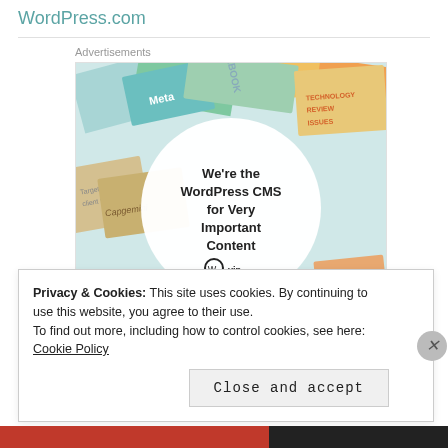WordPress.com
[Figure (screenshot): Advertisement for WordPress VIP showing a circular badge with text 'We're the WordPress CMS for Very Important Content' with WP VIP logo and 'Learn more' button, surrounded by colorful cards with brand names like Meta, Facebook, Capgemini, Merck, Salesforce]
Privacy & Cookies: This site uses cookies. By continuing to use this website, you agree to their use.
To find out more, including how to control cookies, see here: Cookie Policy
Close and accept